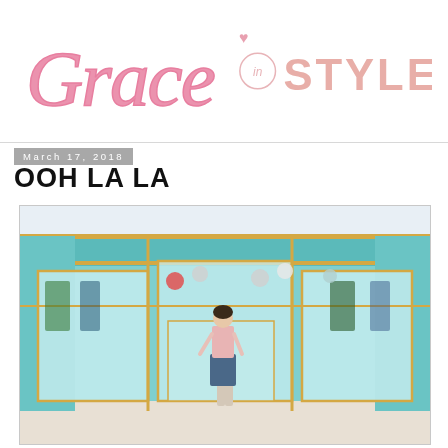Grace in Style
March 17, 2018
OOH LA LA
[Figure (photo): Woman in pink top and blue skirt standing in front of a teal/turquoise boutique storefront with large glass windows and gold trim, balloons visible inside the store.]